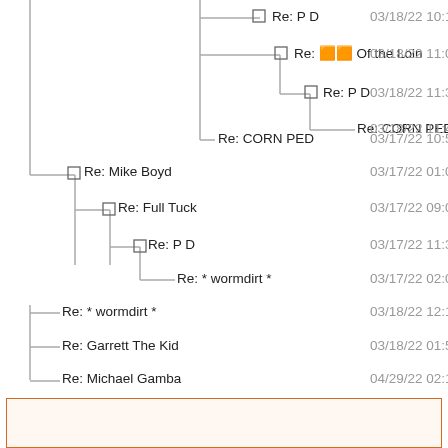[Figure (other): Threaded message tree with reply hierarchy showing nested email/forum replies with timestamps]
[Figure (other): Orange-bordered box at bottom of page, partially visible]